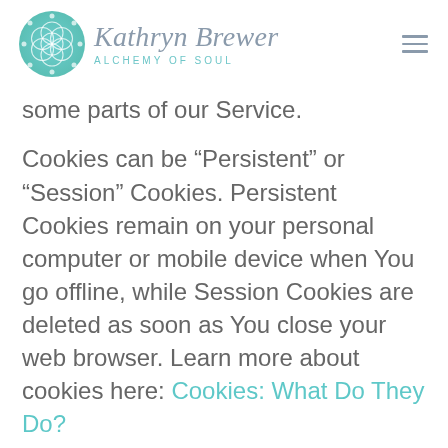[Figure (logo): Kathryn Brewer Alchemy of Soul logo with teal geometric circle and stylized script text]
some parts of our Service.
Cookies can be “Persistent” or “Session” Cookies. Persistent Cookies remain on your personal computer or mobile device when You go offline, while Session Cookies are deleted as soon as You close your web browser. Learn more about cookies here: Cookies: What Do They Do?
We use both session and persistent